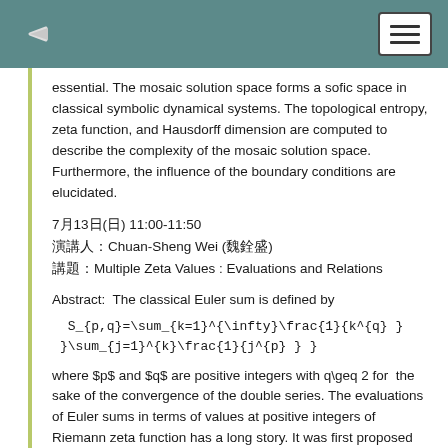essential. The mosaic solution space forms a sofic space in classical symbolic dynamical systems. The topological entropy, zeta function, and Hausdorff dimension are computed to describe the complexity of the mosaic solution space. Furthermore, the influence of the boundary conditions are elucidated.
7月13日(日) 11:00-11:50
演講人：Chuan-Sheng Wei (魏銓盛)
講題：Multiple Zeta Values : Evaluations and Relations
Abstract:  The classical Euler sum is defined by
where $p$ and $q$ are positive integers with q\geq 2 for  the sake of the convergence of the double series. The evaluations of Euler sums in terms of values at positive integers of Riemann zeta function has a long story. It was first proposed